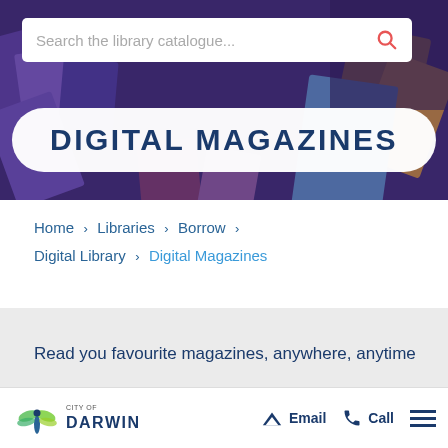[Figure (screenshot): Hero banner showing scattered magazines on a purple/dark background with a search bar overlay and 'Digital Magazines' title in a white pill-shaped box]
Search the library catalogue...
DIGITAL MAGAZINES
Home > Libraries > Borrow > Digital Library > Digital Magazines
Read you favourite magazines, anywhere, anytime
[Figure (logo): City of Darwin logo with dragonfly icon and 'DARWIN' text]
Email   Call